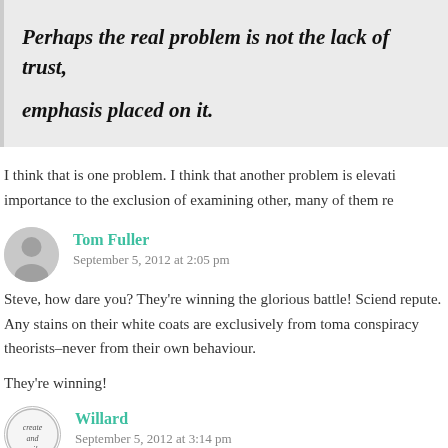Perhaps the real problem is not the lack of trust, emphasis placed on it.
I think that is one problem. I think that another problem is elevati importance to the exclusion of examining other, many of them re
Tom Fuller
September 5, 2012 at 2:05 pm
Steve, how dare you? They're winning the glorious battle! Sciend repute. Any stains on their white coats are exclusively from toma conspiracy theorists–never from their own behaviour.

They're winning!
Willard
September 5, 2012 at 3:14 pm